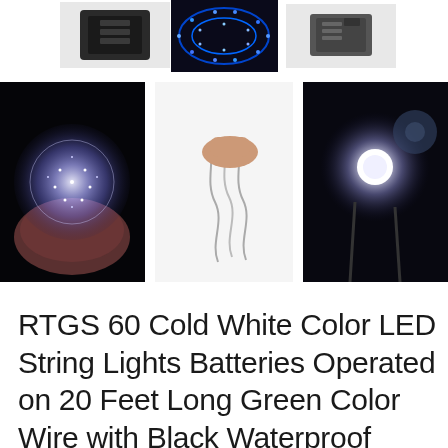[Figure (photo): Top row: three product photos — left: black battery box on white background, center: blue LED string lights on dark background, right: small gray battery box on white background]
[Figure (photo): Middle row: three product photos — left: hands holding glowing white LED fairy lights against black background, center: hand holding wire strands on white background, right: close-up of LED bulb glowing against dark background]
RTGS 60 Cold White Color LED String Lights Batteries Operated on 20 Feet Long Green Color Wire with Black Waterproof Batteries Box, Automatic Timer and 8 Functions